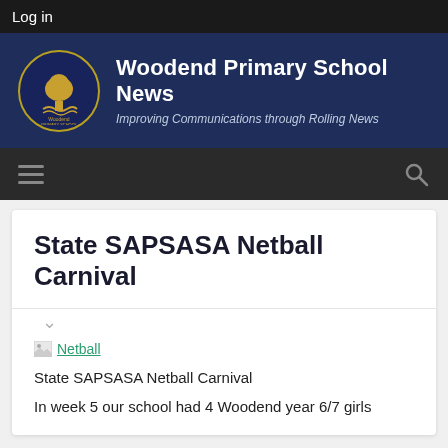Log in
Woodend Primary School News
Improving Communications through Rolling News
State SAPSASA Netball Carnival
[Figure (photo): Broken image placeholder labeled 'Netball']
State SAPSASA Netball Carnival
In week 5 our school had 4 Woodend year 6/7 girls